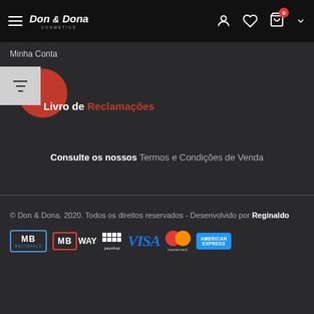Don & Dona — navigation header with hamburger menu, logo, user icon, heart icon, cart icon with badge 0
Minha Conta
[Figure (logo): Red circle icon for Livro de Reclamações]
Livro de Reclamações
Consulte os nossos Termos e Condições de Venda
© Don & Dona. 2020. Todos os direitos reservados - Desenvolvido por Reginaldo
[Figure (logo): Payment method logos: Multibanco, MB WAY, payshop, VISA, Mastercard, American Express]